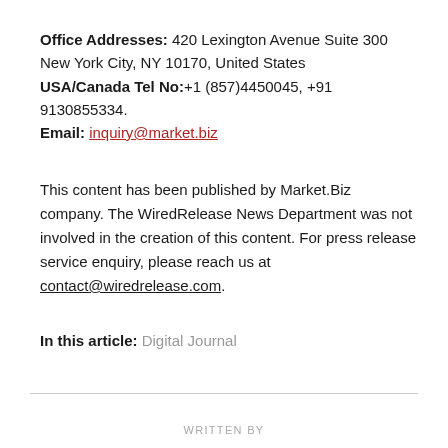Office Addresses: 420 Lexington Avenue Suite 300 New York City, NY 10170, United States USA/Canada Tel No:+1 (857)4450045, +91 9130855334. Email: inquiry@market.biz
This content has been published by Market.Biz company. The WiredRelease News Department was not involved in the creation of this content. For press release service enquiry, please reach us at contact@wiredrelease.com.
In this article: Digital Journal
WRITTEN BY